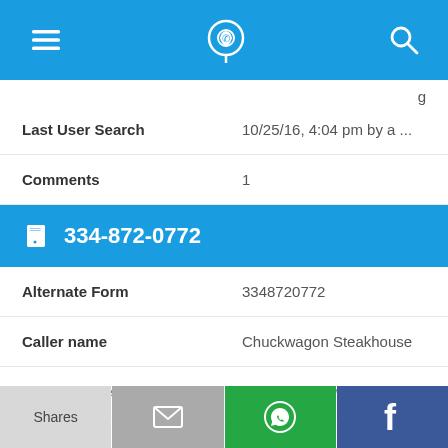App header bar with menu, phone locator icon, and search
g
Last User Search: 10/25/16, 4:04 pm by a ...
Comments: 1
334-872-0772
Alternate Form: 3348720772
Caller name: Chuckwagon Steakhouse
Last User Search: No searches yet
Shares | [email icon] | [WhatsApp icon] | [Facebook icon]